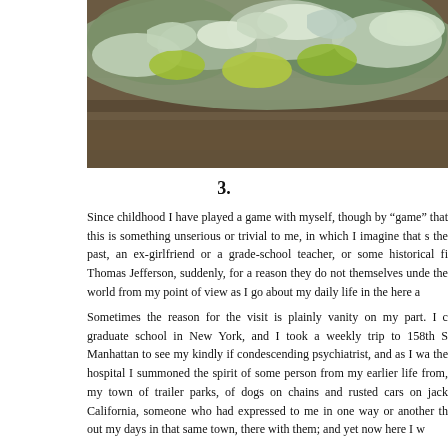[Figure (photo): Close-up photograph of lichen growing on bark or rock surface, showing textured green, grey, and white lichen formations against a brownish surface.]
3.
Since childhood I have played a game with myself, though by “game” that this is something unserious or trivial to me, in which I imagine that s the past, an ex-girlfriend or a grade-school teacher, or some historical fi Thomas Jefferson, suddenly, for a reason they do not themselves unde the world from my point of view as I go about my daily life in the here a
Sometimes the reason for the visit is plainly vanity on my part. I c graduate school in New York, and I took a weekly trip to 158th S Manhattan to see my kindly if condescending psychiatrist, and as I wa the hospital I summoned the spirit of some person from my earlier life from, my town of trailer parks, of dogs on chains and rusted cars on jack California, someone who had expressed to me in one way or another th out my days in that same town, there with them; and yet now here I w